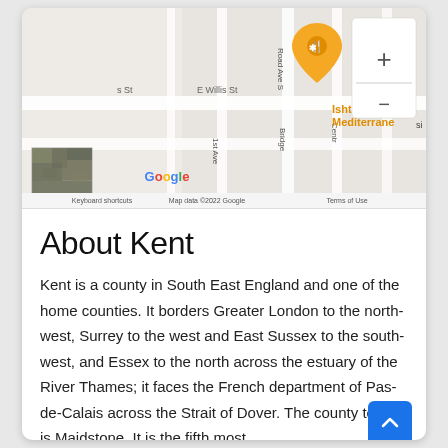[Figure (map): Google Maps screenshot showing streets including E Willis St, 1st Ave, Bridge St, Centre area. An orange restaurant pin for 'Ishtar Greek Mediterrane' is shown. Map controls (+/-) visible. Satellite thumbnail in bottom-left. Footer shows 'Keyboard shortcuts', 'Map data ©2022 Google', 'Terms of Use'.]
About Kent
Kent is a county in South East England and one of the home counties. It borders Greater London to the north-west, Surrey to the west and East Sussex to the south-west, and Essex to the north across the estuary of the River Thames; it faces the French department of Pas-de-Calais across the Strait of Dover. The county town is Maidstone. It is the fifth most